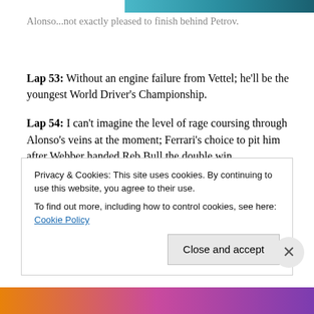[Figure (photo): Partial view of an F1 racing car — teal/blue color strip at top of page]
Alonso...not exactly pleased to finish behind Petrov.
Lap 53: Without an engine failure from Vettel; he'll be the youngest World Driver's Championship.
Lap 54: I can't imagine the level of rage coursing through Alonso's veins at the moment; Ferrari's choice to pit him after Webber handed Reb Bull the double win.
Lap 55: VETTEL WINS! He wins both. A fantastic season
Privacy & Cookies: This site uses cookies. By continuing to use this website, you agree to their use.
To find out more, including how to control cookies, see here: Cookie Policy
Close and accept